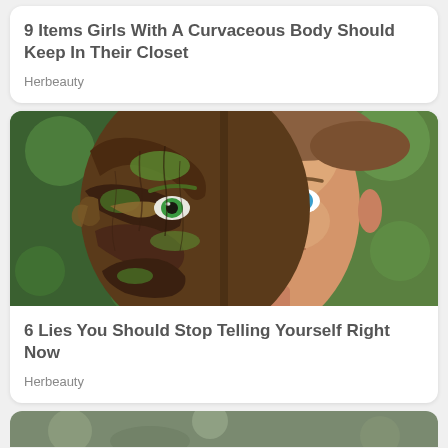9 Items Girls With A Curvaceous Body Should Keep In Their Closet
Herbeauty
[Figure (photo): A composite photo of a man's face, the left half appearing to be made of tree bark and moss with a green eye, the right half a normal human face with a blue eye, set against a blurred green background.]
6 Lies You Should Stop Telling Yourself Right Now
Herbeauty
[Figure (photo): Partial view of a third article card showing the top of an outdoor photo, barely visible at the bottom of the page.]